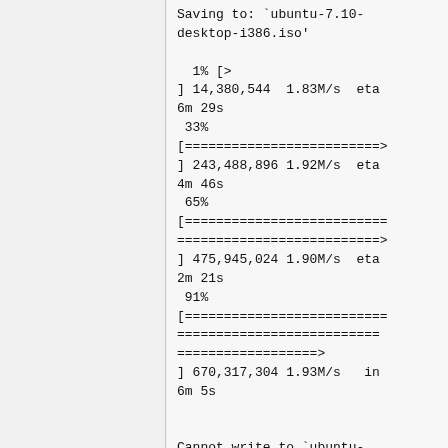Saving to: `ubuntu-7.10-desktop-i386.iso'

  1% [>
] 14,380,544  1.83M/s  eta 6m 29s
 33%
[=========================>] 243,488,896 1.92M/s  eta 4m 46s
 65%
[==========================
==========================>] 475,945,024 1.90M/s  eta 2m 21s
 91%
[==========================
==========================
==================>] 670,317,304 1.93M/s   in 6m 5s


Cannot write to `ubuntu-7.10-desktop-i386.iso' (No